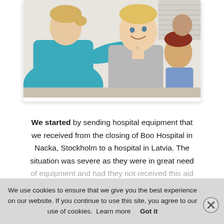[Figure (photo): A healthcare worker in a teal/blue shirt examining or treating a smiling blonde boy. Another child and an adult are visible in the background.]
We started by sending hospital equipment that we received from the closing of Boo Hospital in Nacka, Stockholm to a hospital in Latvia. The situation was severe as they were in great need of equipment and had they not received this aid they would have had greater difficulty in continuing their work. Since then we have been
We use cookies to ensure that we give you the best experience on our website. If you continue to use this site, you agree to our use of cookies.  Learn more     Got it